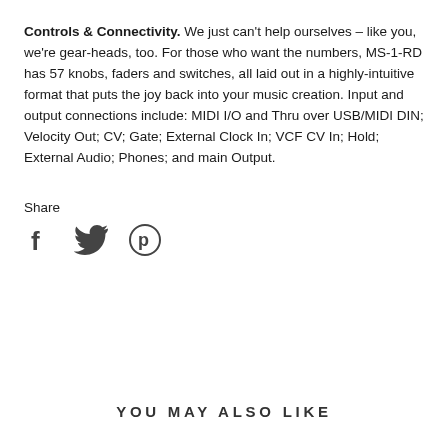Controls & Connectivity. We just can't help ourselves – like you, we're gear-heads, too. For those who want the numbers, MS-1-RD has 57 knobs, faders and switches, all laid out in a highly-intuitive format that puts the joy back into your music creation. Input and output connections include: MIDI I/O and Thru over USB/MIDI DIN; Velocity Out; CV; Gate; External Clock In; VCF CV In; Hold; External Audio; Phones; and main Output.
Share
[Figure (infographic): Social share icons: Facebook (f), Twitter (bird), Pinterest (P circle)]
YOU MAY ALSO LIKE